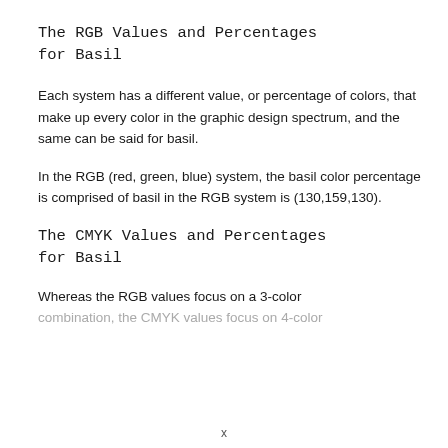The RGB Values and Percentages for Basil
Each system has a different value, or percentage of colors, that make up every color in the graphic design spectrum, and the same can be said for basil.
In the RGB (red, green, blue) system, the basil color percentage is comprised of basil in the RGB system is (130,159,130).
The CMYK Values and Percentages for Basil
Whereas the RGB values focus on a 3-color combination, the CMYK values focus on 4-color